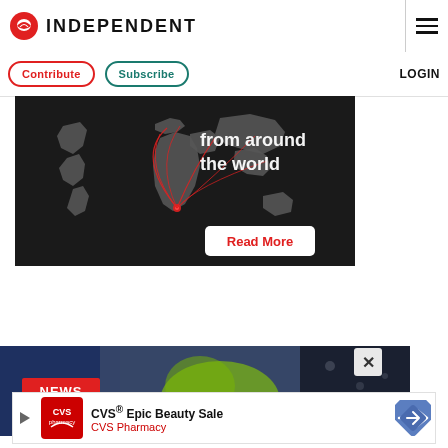INDEPENDENT
Contribute  Subscribe  LOGIN
[Figure (illustration): Dark-background world map advertisement with red arc lines emanating from southern Africa to other regions, text reading 'from around the world' and a 'Read More' button]
[Figure (photo): News card showing a person in a yellow high-visibility jacket with 'NEWS' label in red banner]
[Figure (screenshot): CVS Epic Beauty Sale advertisement banner with CVS Pharmacy logo and navigation arrow icon]